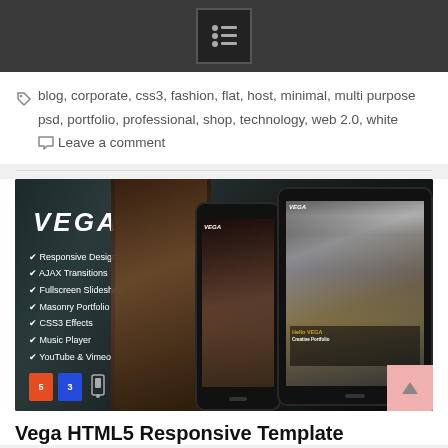blog, corporate, css3, fashion, flat, host, minimal, multi purpose psd, portfolio, professional, shop, technology, web 2.0, white   Leave a comment
[Figure (screenshot): Vega HTML5 Responsive Template promotional banner showing the template on multiple devices (phone and tablet) with dark moody background. Features list: Responsive Design, AJAX Transitions, Fullscreen Slideshow, Masonry Portfolio, CSS3 Effects, Music Player, YouTube & Vimeo. HTML5 and CSS3 logos shown at bottom left.]
Vega HTML5 Responsive Template